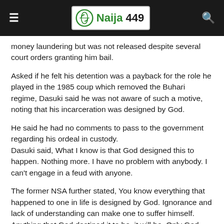Naija 449
money laundering but was not released despite several court orders granting him bail.
Asked if he felt his detention was a payback for the role he played in the 1985 coup which removed the Buhari regime, Dasuki said he was not aware of such a motive, noting that his incarceration was designed by God.
He said he had no comments to pass to the government regarding his ordeal in custody.
Dasuki said, What I know is that God designed this to happen. Nothing more. I have no problem with anybody. I can't engage in a feud with anyone.
The former NSA further stated, You know everything that happened to one in life is designed by God. Ignorance and lack of understanding can make one to suffer himself. Anything that God destined it to be, it will be. Only God knows everything that will happen tomorrow.